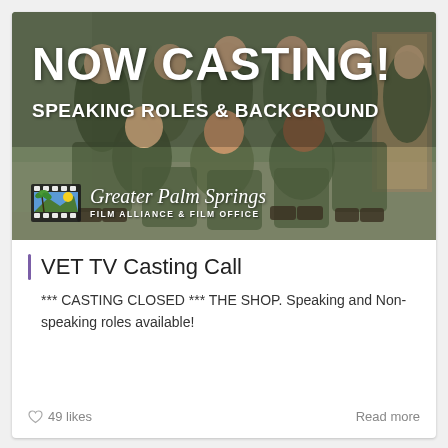[Figure (photo): Group of military personnel in camouflage uniforms posing together indoors. Bold white text overlay reads NOW CASTING! SPEAKING ROLES & BACKGROUND. Logo for Greater Palm Springs Film Alliance & Film Office shown at bottom left of image.]
VET TV Casting Call
*** CASTING CLOSED *** THE SHOP. Speaking and Non-speaking roles available!
49 likes   Read more